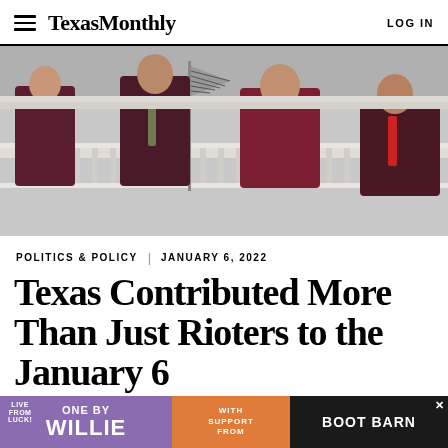Texas Monthly | LOG IN
[Figure (photo): Black and white photo of four figures standing on a balcony of a government building (Capitol), with an American flag visible. The figures are color-highlighted in dark maroon/burgundy clothing.]
POLITICS & POLICY | JANUARY 6, 2022
Texas Contributed More Than Just Rioters to the January 6 Ins[urrection]
[Figure (other): Advertisement banner: 'ONE BY WILLIE' on purple background, 'WITH SUPPORT FROM' on orange background, 'BOOT BARN' on dark background with X close button.]